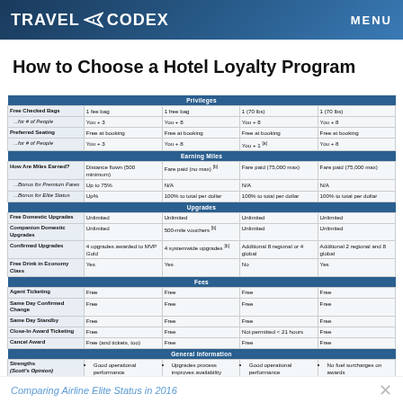TRAVEL CODEX  MENU
How to Choose a Hotel Loyalty Program
|  | Col1 | Col2 | Col3 | Col4 |
| --- | --- | --- | --- | --- |
| Privileges |  |  |  |  |
| Free Checked Bags | 1 fee bag | 1 free bag | 1 (70 lbs) | 1 (70 lbs) |
| ...for # of People | You + 3 | You + 8 | You + 8 | You + 8 |
| Preferred Seating | Free at booking | Free at booking | Free at booking | Free at booking |
| ...for # of People | You + 3 | You + 8 | You + 1 [a] | You + 8 |
| Earning Miles |  |  |  |  |
| How Are Miles Earned? | Distance flown (500 minimum) | Fare paid (no max) [b] | Fare paid (75,000 max) | Fare paid (75,000 max) |
| ...Bonus for Premium Fares | Up to 75% | N/A | N/A | N/A |
| ...Bonus for Elite Status | Up% | 100% to total per dollar | 100% to total per dollar | 100% to total per dollar |
| Upgrades |  |  |  |  |
| Free Domestic Upgrades | Unlimited | Unlimited | Unlimited | Unlimited |
| Companion Domestic Upgrades | Unlimited | 500-mile vouchers [b] | Unlimited | Unlimited |
| Confirmed Upgrades | 4 upgrades awarded to MVP Gold | 4 systemwide upgrades [b] | Additional 8 regional or 4 global | Additional 2 regional and 8 global |
| Free Drink in Economy Class | Yes | Yes | No | Yes |
| Fees |  |  |  |  |
| Agent Ticketing | Free | Free | Free | Free |
| Same Day Confirmed Change | Free | Free | Free | Free |
| Same Day Standby | Free | Free | Free | Free |
| Close-In Award Ticketing | Free | Free | Not permitted < 21 hours | Free |
| Cancel Award | Free (and tickets, too) | Free | Free | Free |
| General Information |  |  |  |  |
| Strengths (Scott's Opinion) | • Good operational performance
• Partner w/ two US airlines
• Get 50,000 bonus miles | • Upgrades process improves availability (despite cost) | • Good operational performance
• Additional 50,000 bonus miles | • No fuel surcharges on awards
• Good award search tools |
Comparing Airline Elite Status in 2016